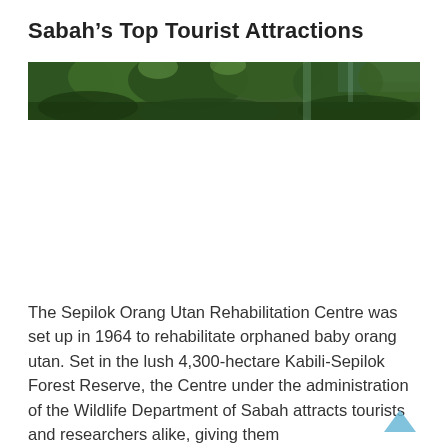Sabah's Top Tourist Attractions
[Figure (photo): A green forested landscape, showing dense tropical tree canopy, appears to be taken from within or near a forest reserve. Partially visible image strip at the top of the page.]
The Sepilok Orang Utan Rehabilitation Centre was set up in 1964 to rehabilitate orphaned baby orang utan. Set in the lush 4,300-hectare Kabili-Sepilok Forest Reserve, the Centre under the administration of the Wildlife Department of Sabah attracts tourists and researchers alike, giving them